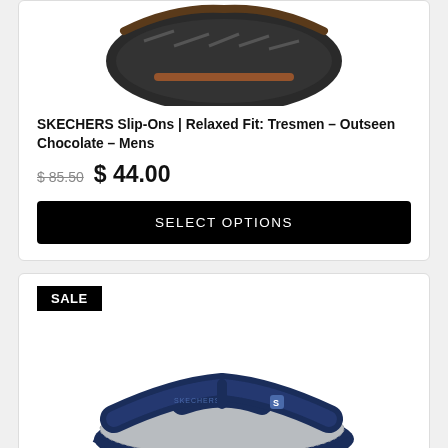[Figure (photo): Bottom portion of a dark brown/black Skechers shoe sole visible at the top of the card]
SKECHERS Slip-Ons | Relaxed Fit: Tresmen – Outseen Chocolate – Mens
$ 85.50  $ 44.00
SELECT OPTIONS
SALE
[Figure (photo): Navy blue and grey Skechers flip-flop/thong sandal shown from the side]